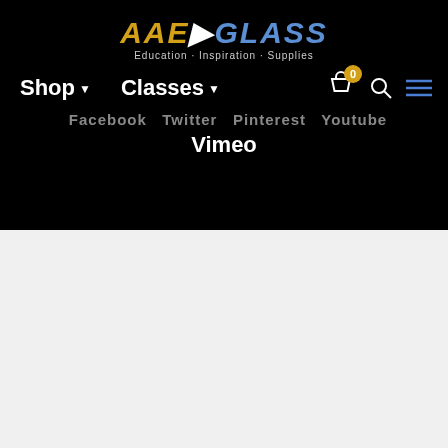[Figure (logo): AAE Glass logo with gold AAE and blue GLASS text, Education Inspiration Supplies tagline]
Shop ▼   Classes ▼
Facebook   Twitter   Pinterest   Youtube
Vimeo
Important Links
[Figure (illustration): Bullseye Kiln-Glass product thumbnail with pink bullseye target icon]